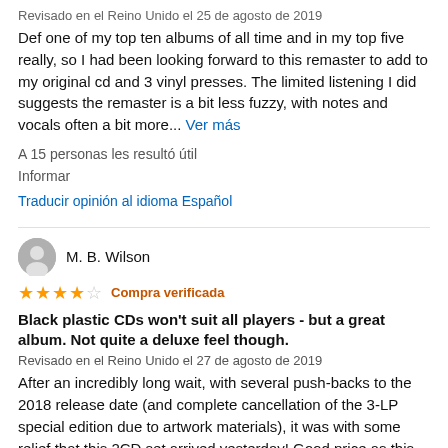Revisado en el Reino Unido el 25 de agosto de 2019
Def one of my top ten albums of all time and in my top five really, so I had been looking forward to this remaster to add to my original cd and 3 vinyl presses. The limited listening I did suggests the remaster is a bit less fuzzy, with notes and vocals often a bit more... Ver más
A 15 personas les resultó útil
Informar
Traducir opinión al idioma Español
M. B. Wilson
★★★★☆ Compra verificada
Black plastic CDs won't suit all players - but a great album. Not quite a deluxe feel though.
Revisado en el Reino Unido el 27 de agosto de 2019
After an incredibly long wait, with several push-backs to the 2018 release date (and complete cancellation of the 3-LP special edition due to artwork materials), it was with some relief that this 2CD set arrived yesterday! Good price as this not only includes a new... Ver más